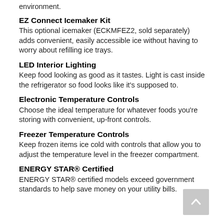environment.
EZ Connect Icemaker Kit
This optional icemaker (ECKMFEZ2, sold separately) adds convenient, easily accessible ice without having to worry about refilling ice trays.
LED Interior Lighting
Keep food looking as good as it tastes. Light is cast inside the refrigerator so food looks like it's supposed to.
Electronic Temperature Controls
Choose the ideal temperature for whatever foods you're storing with convenient, up-front controls.
Freezer Temperature Controls
Keep frozen items ice cold with controls that allow you to adjust the temperature level in the freezer compartment.
ENERGY STAR® Certified
ENERGY STAR® certified models exceed government standards to help save money on your utility bills.